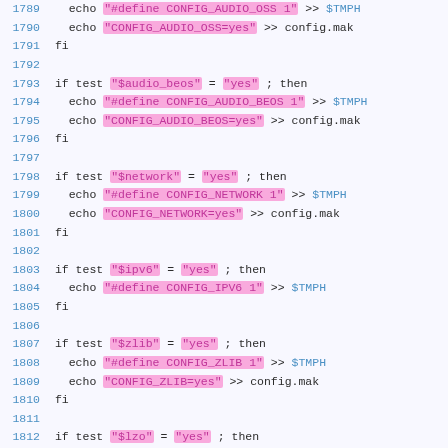Code listing lines 1789-1813: shell script configure checks for audio_beos, network, ipv6, zlib, lzo features
1789   echo "#define CONFIG_AUDIO_OSS 1" >> $TMPH
1790   echo "CONFIG_AUDIO_OSS=yes" >> config.mak
1791 fi
1792
1793 if test "$audio_beos" = "yes" ; then
1794   echo "#define CONFIG_AUDIO_BEOS 1" >> $TMPH
1795   echo "CONFIG_AUDIO_BEOS=yes" >> config.mak
1796 fi
1797
1798 if test "$network" = "yes" ; then
1799   echo "#define CONFIG_NETWORK 1" >> $TMPH
1800   echo "CONFIG_NETWORK=yes" >> config.mak
1801 fi
1802
1803 if test "$ipv6" = "yes" ; then
1804   echo "#define CONFIG_IPV6 1" >> $TMPH
1805 fi
1806
1807 if test "$zlib" = "yes" ; then
1808   echo "#define CONFIG_ZLIB 1" >> $TMPH
1809   echo "CONFIG_ZLIB=yes" >> config.mak
1810 fi
1811
1812 if test "$lzo" = "yes" ; then
1813   echo "#define CONFIG_LZO 1" >> $TMPH